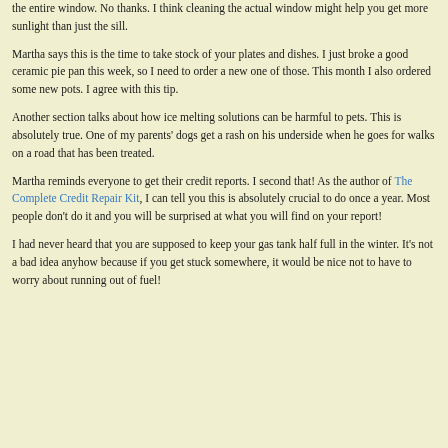the entire window. No thanks. I think cleaning the actual window might help you get more sunlight than just the sill.
Martha says this is the time to take stock of your plates and dishes. I just broke a good ceramic pie pan this week, so I need to order a new one of those. This month I also ordered some new pots. I agree with this tip.
Another section talks about how ice melting solutions can be harmful to pets. This is absolutely true. One of my parents' dogs get a rash on his underside when he goes for walks on a road that has been treated.
Martha reminds everyone to get their credit reports. I second that! As the author of The Complete Credit Repair Kit, I can tell you this is absolutely crucial to do once a year. Most people don't do it and you will be surprised at what you will find on your report!
I had never heard that you are supposed to keep your gas tank half full in the winter. It's not a bad idea anyhow because if you get stuck somewhere, it would be nice not to have to worry about running out of fuel!